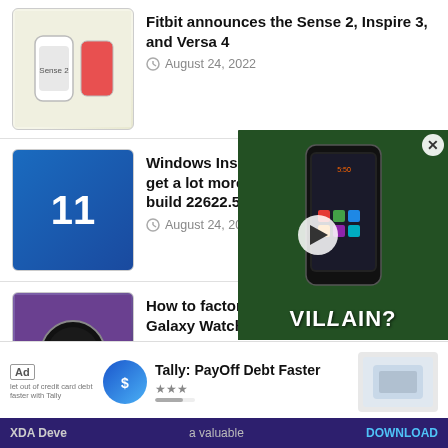Fitbit announces the Sense 2, Inspire 3, and Versa 4 — August 24, 2022
Windows Insiders in the Beta channel get a lot more fixes with Windows 11 build 22622.586 — August 24, 2022
How to factory reset the Samsung Galaxy Watch 5 series — August 24, 2022
Windows 11 build 25188 includes improvements to touch keyboard settings — August 24, 2022
[Figure (screenshot): Video overlay showing a smartphone with text VILLAIN? and a play button, with an X close button]
[Figure (screenshot): Ad bar showing Tally: PayOff Debt Faster advertisement with download link, and XDA Developers footer]